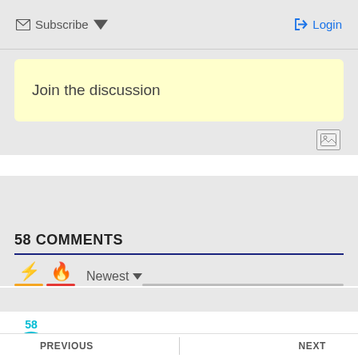Subscribe  Login
Join the discussion
58 COMMENTS
Newest
58
PREVIOUS  NEXT